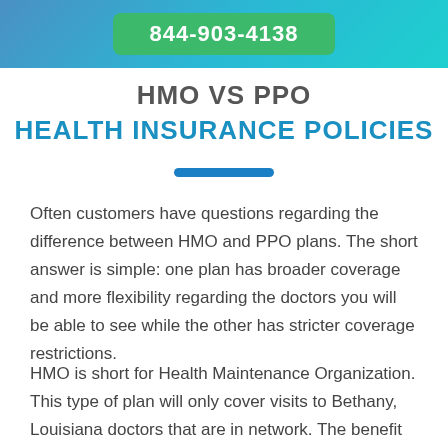844-903-4138
HMO VS PPO
HEALTH INSURANCE POLICIES
Often customers have questions regarding the difference between HMO and PPO plans. The short answer is simple: one plan has broader coverage and more flexibility regarding the doctors you will be able to see while the other has stricter coverage restrictions.
HMO is short for Health Maintenance Organization. This type of plan will only cover visits to Bethany, Louisiana doctors that are in network. The benefit of this kind of